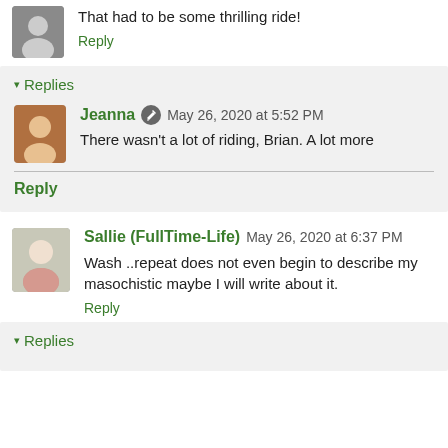That had to be some thrilling ride!
Reply
Replies
Jeanna  May 26, 2020 at 5:52 PM
There wasn't a lot of riding, Brian. A lot more
Reply
Sallie (FullTime-Life)  May 26, 2020 at 6:37 PM
Wash ..repeat does not even begin to describe my masochistic maybe I will write about it.
Reply
Replies